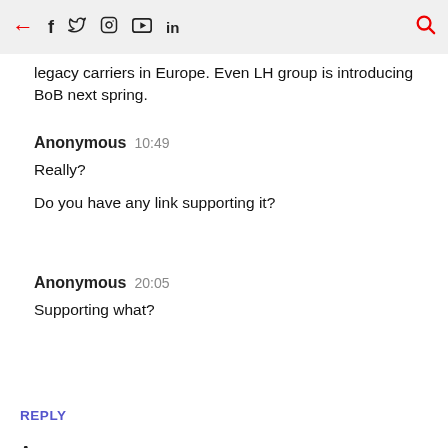← f  in [icons: twitter, instagram, youtube] 🔍
legacy carriers in Europe. Even LH group is introducing BoB next spring.
Anonymous  10:49
Really?

Do you have any link supporting it?
Anonymous  20:05
Supporting what?
REPLY
Anonymous  10:19